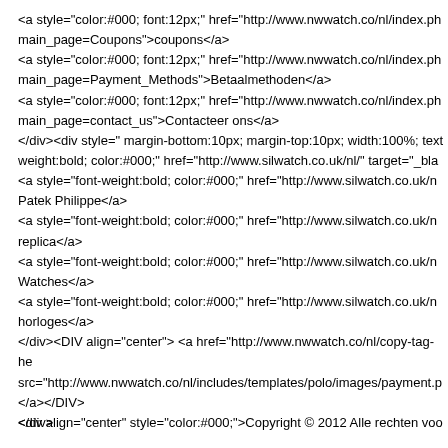<a style="color:#000; font:12px;" href="http://www.nwwatch.co/nl/index.ph main_page=Coupons">coupons</a>
<a style="color:#000; font:12px;" href="http://www.nwwatch.co/nl/index.ph main_page=Payment_Methods">Betaalmethoden</a>
<a style="color:#000; font:12px;" href="http://www.nwwatch.co/nl/index.ph main_page=contact_us">Contacteer ons</a>
</div><div style=" margin-bottom:10px; margin-top:10px; width:100%; text weight:bold; color:#000;" href="http://www.silwatch.co.uk/nl/" target="_bla
<a style="font-weight:bold; color:#000;" href="http://www.silwatch.co.uk/n Patek Philippe</a>
<a style="font-weight:bold; color:#000;" href="http://www.silwatch.co.uk/n replica</a>
<a style="font-weight:bold; color:#000;" href="http://www.silwatch.co.uk/n Watches</a>
<a style="font-weight:bold; color:#000;" href="http://www.silwatch.co.uk/n horloges</a>
</div><DIV align="center"> <a href="http://www.nwwatch.co/nl/copy-tag-he src="http://www.nwwatch.co/nl/includes/templates/polo/images/payment.p </a></DIV>
<div align="center" style="color:#000;">Copyright © 2012 Alle rechten voo
</div>